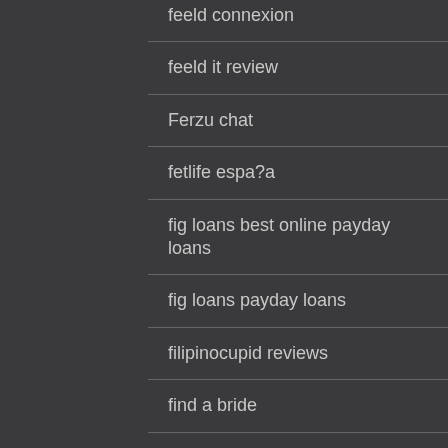feeld connexion
feeld it review
Ferzu chat
fetlife espa?a
fig loans best online payday loans
fig loans payday loans
filipinocupid reviews
find a bride
find a …